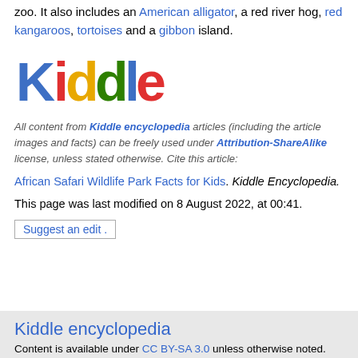zoo. It also includes an American alligator, a red river hog, red kangaroos, tortoises and a gibbon island.
[Figure (logo): Kiddle logo with colorful letters: K (blue), i (red), d (yellow), d (green), l (blue), e (red)]
All content from Kiddle encyclopedia articles (including the article images and facts) can be freely used under Attribution-ShareAlike license, unless stated otherwise. Cite this article:
African Safari Wildlife Park Facts for Kids. Kiddle Encyclopedia.
This page was last modified on 8 August 2022, at 00:41.
Suggest an edit .
Kiddle encyclopedia
Content is available under CC BY-SA 3.0 unless otherwise noted.